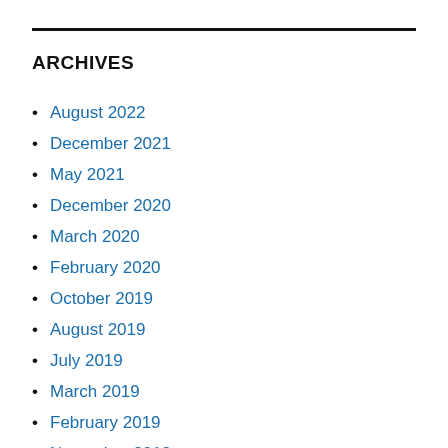ARCHIVES
August 2022
December 2021
May 2021
December 2020
March 2020
February 2020
October 2019
August 2019
July 2019
March 2019
February 2019
November 2018